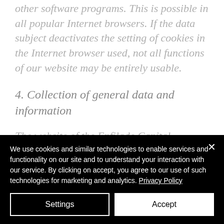other software programs. This is possible in all popular Internet browsers. If the data subject deactivates the setting of cookies in the Internet browser used, not all functions of our website may be entirely usable.
4. Collection of general data and information
The website of the Enfilade Capital
We use cookies and similar technologies to enable services and functionality on our site and to understand your interaction with our service. By clicking on accept, you agree to our use of such technologies for marketing and analytics. Privacy Policy